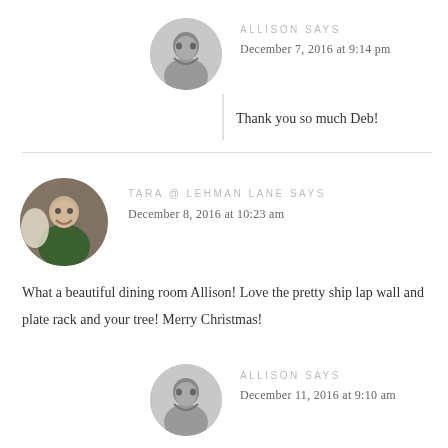[Figure (photo): Circular avatar photo of Allison, black and white, smiling woman]
ALLISON SAYS
December 7, 2016 at 9:14 pm
Thank you so much Deb!
[Figure (photo): Circular avatar photo of Tara @ Lehman Lane, woman in green top on couch]
TARA @ LEHMAN LANE SAYS
December 8, 2016 at 10:23 am
What a beautiful dining room Allison! Love the pretty ship lap wall and plate rack and your tree! Merry Christmas!
[Figure (photo): Circular avatar photo of Allison, black and white, smiling woman]
ALLISON SAYS
December 11, 2016 at 9:10 am